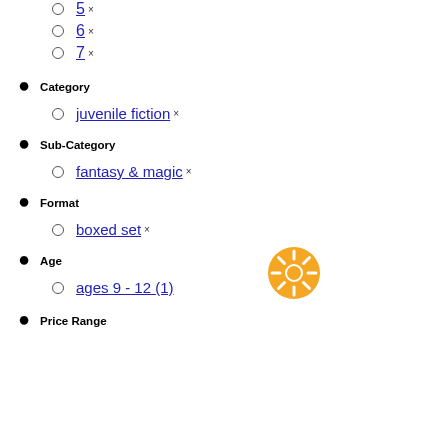5 ×
6 ×
7 ×
Category
juvenile fiction ×
Sub-Category
fantasy & magic ×
Format
boxed set ×
Age
ages 9 - 12 (1)
Price Range